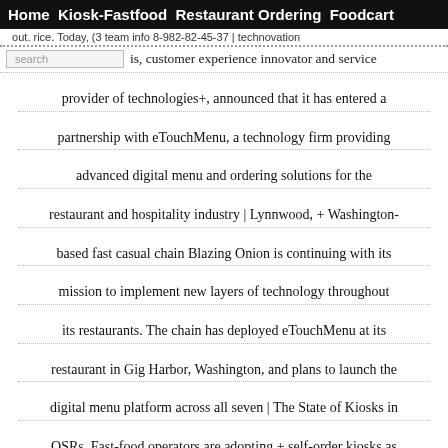Home  Kiosk-Fastfood  Restaurant Ordering  Foodcart
out.rice. Today, (3 team info 8-982-82-45-37 | technovation
is, customer experience innovator and service provider of technologies+, announced that it has entered a partnership with eTouchMenu, a technology firm providing advanced digital menu and ordering solutions for the restaurant and hospitality industry | Lynnwood, + Washington-based fast casual chain Blazing Onion is continuing with its mission to implement new layers of technology throughout its restaurants. The chain has deployed eTouchMenu at its restaurant in Gig Harbor, Washington, and plans to launch the digital menu platform across all seven | The State of Kiosks in QSRs. Fast-food operators are adopting + self-order kiosks as a way to speed up service, improve order accuracy and provide an improved guest experience. Type White Paper Sponsor Peerless-AV | The age of the restaurant self-service kiosks has dawned, and it's the end of fast food as we know it.